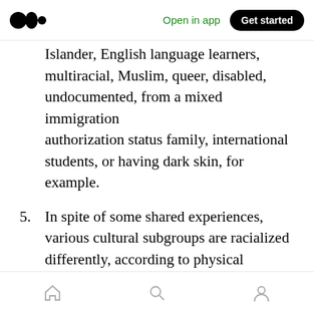Open in app | Get started
Islander, English language learners, multiracial, Muslim, queer, disabled, undocumented, from a mixed immigration authorization status family, international students, or having dark skin, for example.
5. In spite of some shared experiences, various cultural subgroups are racialized differently, according to physical phenotypic presentation and sociopolitical history with the U.S. We specifically highlight the experiences and needs of South Asian
Home | Search | Profile